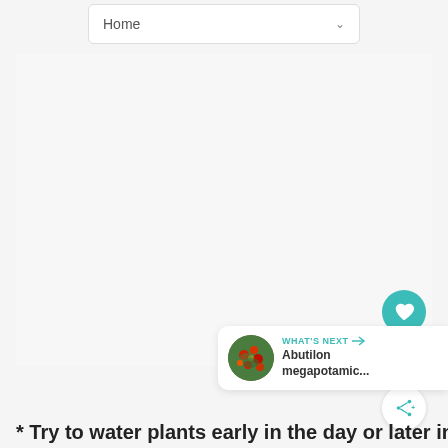Home
[Figure (screenshot): Large empty light gray content area placeholder]
[Figure (infographic): Teal heart (favorite) button circle on the right side]
1
[Figure (infographic): White share button circle with share icon and + symbol]
[Figure (infographic): What's Next card with plant thumbnail image and text: WHAT'S NEXT → Abutilon megapotamic...]
* Try to water plants early in the day or later in...